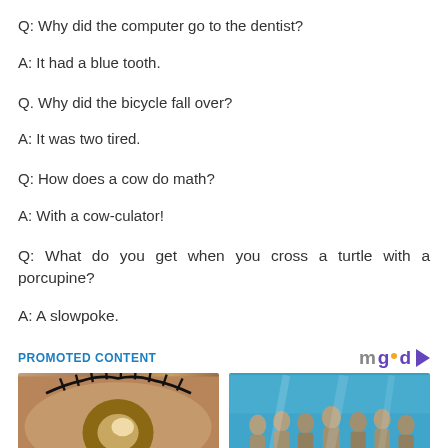Q: Why did the computer go to the dentist?
A: It had a blue tooth.
Q. Why did the bicycle fall over?
A: It was two tired.
Q: How does a cow do math?
A: With a cow-culator!
Q: What do you get when you cross a turtle with a porcupine?
A: A slowpoke.
PROMOTED CONTENT
[Figure (photo): Close-up photo of a human eye with a cloudy lens (cataract)]
[Figure (photo): Underwater photo of stone human statues grouped together in blue water]